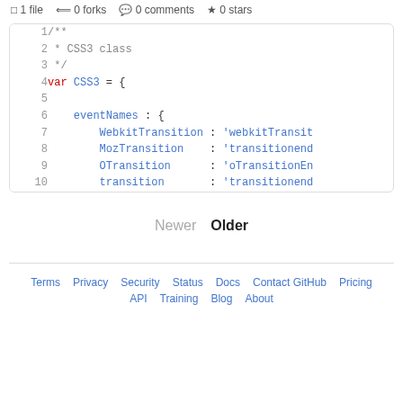1 file  0 forks  0 comments  0 stars
[Figure (screenshot): Code block showing JavaScript snippet with line numbers 1-10. Lines 1-3 are a JSDoc comment. Line 4: var CSS3 = {. Line 5: empty. Line 6: eventNames : {. Lines 7-10: WebkitTransition, MozTransition, OTransition, transition property assignments.]
Newer  Older
Terms  Privacy  Security  Status  Docs  Contact GitHub  Pricing  API  Training  Blog  About